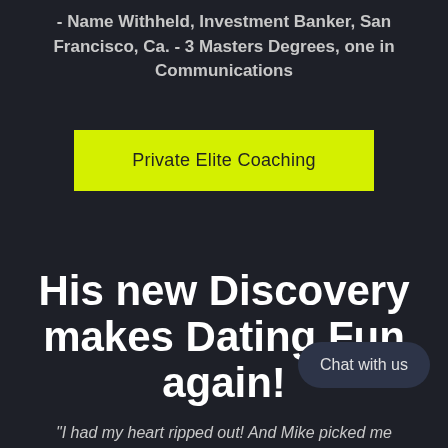- Name Withheld, Investment Banker, San Francisco, Ca. - 3 Masters Degrees, one in Communications
[Figure (other): Yellow button with text 'Private Elite Coaching']
His new Discovery makes Dating Fun again!
[Figure (other): Dark rounded button with text 'Chat with us']
“I had my heart ripped out! And Mike picked me